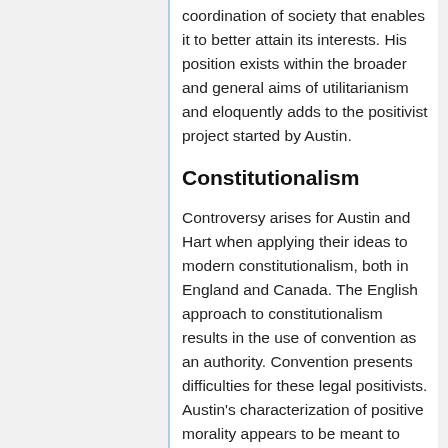coordination of society that enables it to better attain its interests. His position exists within the broader and general aims of utilitarianism and eloquently adds to the positivist project started by Austin.
Constitutionalism
Controversy arises for Austin and Hart when applying their ideas to modern constitutionalism, both in England and Canada. The English approach to constitutionalism results in the use of convention as an authority. Convention presents difficulties for these legal positivists. Austin's characterization of positive morality appears to be meant to include conventions. What he means by convention is the voluntary acceptance of rules, rather than the forced